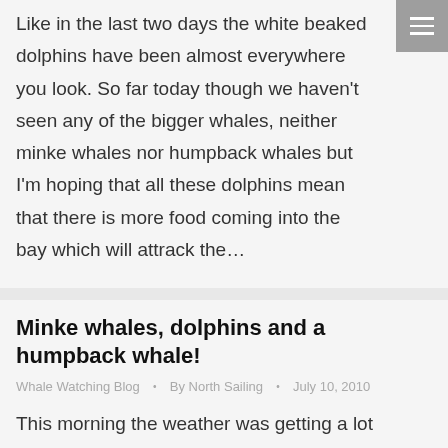Like in the last two days the white beaked dolphins have been almost everywhere you look. So far today though we haven't seen any of the bigger whales, neither minke whales nor humpback whales but I'm hoping that all these dolphins mean that there is more food coming into the bay which will attrack the…
Minke whales, dolphins and a humpback whale!
Whale Watching Blog • By North Sailing • July 10, 2010
This morning the weather was getting a lot better and the sea surface calmer. When I went out at